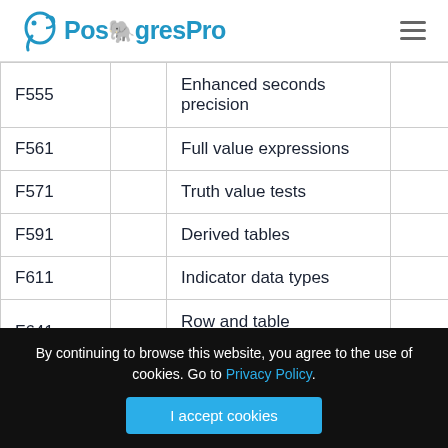PostgresPro
|  |  |  |  |
| --- | --- | --- | --- |
| F555 |  | Enhanced seconds precision |  |
| F561 |  | Full value expressions |  |
| F571 |  | Truth value tests |  |
| F591 |  | Derived tables |  |
| F611 |  | Indicator data types |  |
| F641 |  | Row and table constructors |  |
| F651 |  | Catalog name qualifiers |  |
By continuing to browse this website, you agree to the use of cookies. Go to Privacy Policy.
I accept cookies